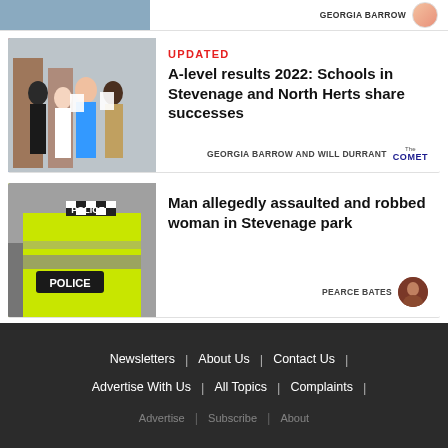[Figure (photo): Partial top card with author name GEORGIA BARROW and avatar on right]
[Figure (photo): Students holding papers, celebrating A-level results]
UPDATED
A-level results 2022: Schools in Stevenage and North Herts share successes
GEORGIA BARROW AND WILL DURRANT | THE COMET
[Figure (photo): Police officer in high-visibility jacket with POLICE label]
Man allegedly assaulted and robbed woman in Stevenage park
PEARCE BATES
Newsletters | About Us | Contact Us | Advertise With Us | All Topics | Complaints |